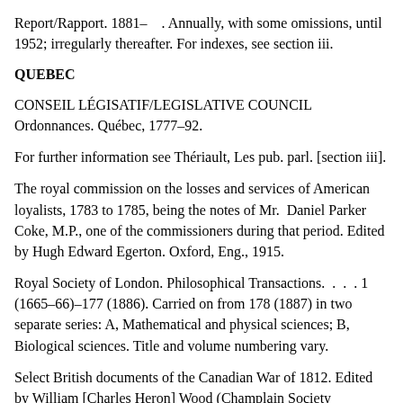Report/Rapport. 1881–    . Annually, with some omissions, until 1952; irregularly thereafter. For indexes, see section iii.
QUEBEC
CONSEIL LÉGISLATIF/LEGISLATIVE COUNCIL Ordonnances. Québec, 1777–92.
For further information see Thériault, Les pub. parl. [section iii].
The royal commission on the losses and services of American loyalists, 1783 to 1785, being the notes of Mr.  Daniel Parker Coke, M.P., one of the commissioners during that period. Edited by Hugh Edward Egerton. Oxford, Eng., 1915.
Royal Society of London. Philosophical Transactions.  .  .  . 1 (1665–66)–177 (1886). Carried on from 178 (1887) in two separate series: A, Mathematical and physical sciences; B, Biological sciences. Title and volume numbering vary.
Select British documents of the Canadian War of 1812. Edited by William [Charles Heron] Wood (Champlain Society publications,